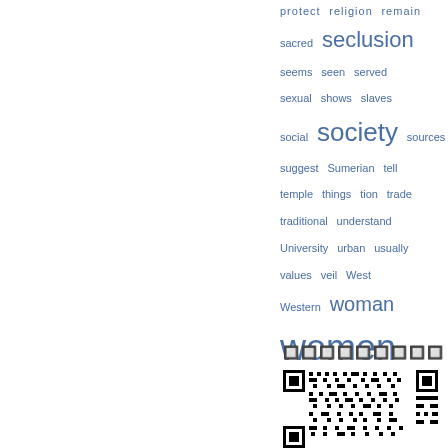[Figure (infographic): Word cloud with blue words of varying sizes including: protect, religion, remain, sacred, seclusion (large), seems, seen, served, sexual, shows, slaves, social, society (large), sources, suggest, Sumerian, tell, temple, things, tion, trade, traditional, understand, University, urban, usually, values, veil, West, Western, woman (large), women (very large)]
🔲🔲🔲🔲🔲🔲🔲🔲🔲🔲
[Figure (other): QR code image in black and white]